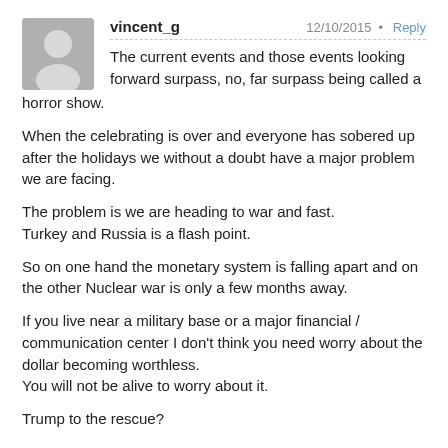vincent_g   12/10/2015 • Reply
The current events and those events looking forward surpass, no, far surpass being called a horror show.

When the celebrating is over and everyone has sobered up after the holidays we without a doubt have a major problem we are facing.

The problem is we are heading to war and fast.
Turkey and Russia is a flash point.

So on one hand the monetary system is falling apart and on the other Nuclear war is only a few months away.

If you live near a military base or a major financial / communication center I don't think you need worry about the dollar becoming worthless.
You will not be alive to worry about it.

Trump to the rescue?